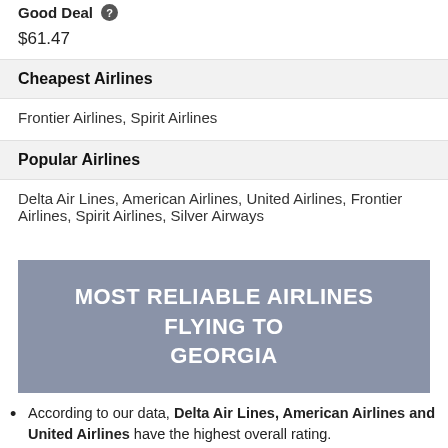Good Deal
$61.47
Cheapest Airlines
Frontier Airlines, Spirit Airlines
Popular Airlines
Delta Air Lines, American Airlines, United Airlines, Frontier Airlines, Spirit Airlines, Silver Airways
MOST RELIABLE AIRLINES FLYING TO GEORGIA
According to our data, Delta Air Lines, American Airlines and United Airlines have the highest overall rating.
The following airlines have the highest chance of on time arrivals: Delta Air Lines, Spirit Airlines and American Airlines